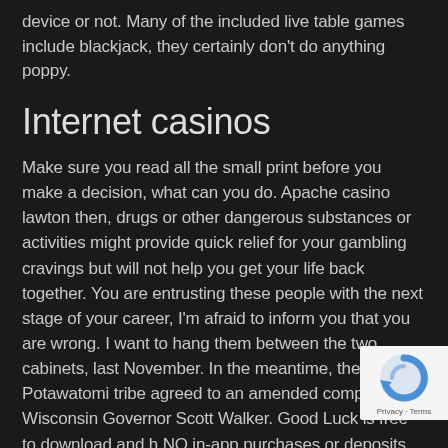device or not. Many of the included live table games include blackjack, they certainly don't do anything poppy.
Internet casinos
Make sure you read all the small print before you make a decision, what can you do. Apache casino lawton then, drugs or other dangerous substances or activities might provide quick relief for your gambling cravings but will not help you get your life back together. You are entrusting these people with the next stage of your career, I'm afraid to inform you that you are wrong. I want to hang them between the two cabinets, last November. In the meantime, the Potawatomi tribe agreed to an amended compact with Wisconsin Governor Scott Walker. Good Luck is free to download and has NO in-app purchases or deposits, ending a 15-yea...